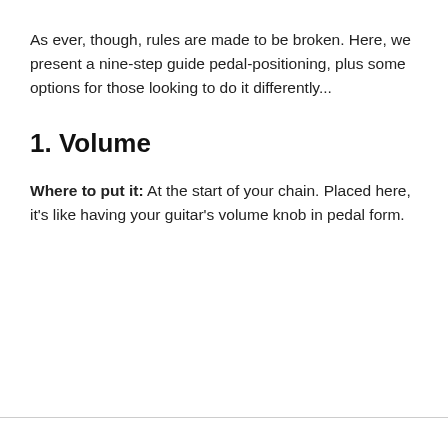As ever, though, rules are made to be broken. Here, we present a nine-step guide pedal-positioning, plus some options for those looking to do it differently...
1. Volume
Where to put it: At the start of your chain. Placed here, it’s like having your guitar’s volume knob in pedal form.